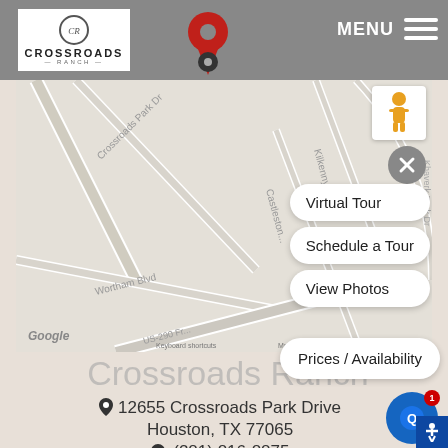[Figure (screenshot): Website screenshot of Crossroads Ranch apartment community page showing navigation header with logo and MENU button, an embedded Google Map showing the location at 12655 Crossroads Park Drive near US-290 in Houston TX with street names Wortham Blvd, Kilkenny G, Castleston visible, overlay buttons for Virtual Tour, Schedule a Tour, View Photos, and Prices/Availability, and below the map the property name Crossroads Ranch with address 12655 Crossroads Park Drive Houston TX 77065 and partial phone number]
Crossroads Ranch
12655 Crossroads Park Drive
Houston, TX 77065